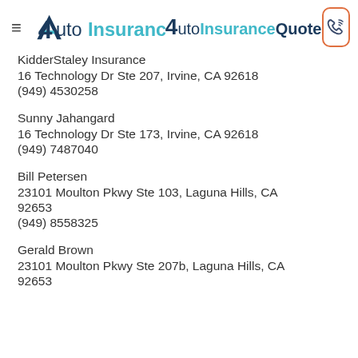AutoInsuranceQuote
KidderStaley Insurance
16 Technology Dr Ste 207, Irvine, CA 92618
(949) 4530258
Sunny Jahangard
16 Technology Dr Ste 173, Irvine, CA 92618
(949) 7487040
Bill Petersen
23101 Moulton Pkwy Ste 103, Laguna Hills, CA 92653
(949) 8558325
Gerald Brown
23101 Moulton Pkwy Ste 207b, Laguna Hills, CA 92653